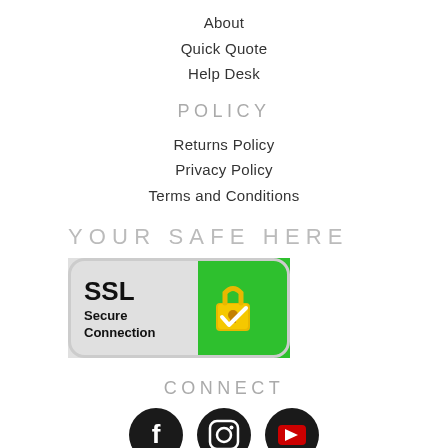About
Quick Quote
Help Desk
POLICY
Returns Policy
Privacy Policy
Terms and Conditions
YOUR SAFE HERE
[Figure (logo): SSL Secure Connection badge: green and grey rounded rectangle with padlock icon and checkmark]
CONNECT
[Figure (illustration): Social media icons: Facebook, Instagram, YouTube]